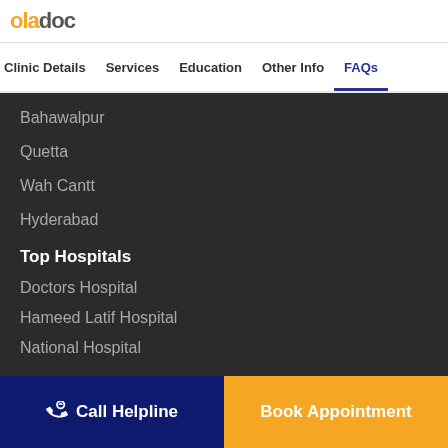oladoc
Clinic Details | Services | Education | Other Info | FAQs
Bahawalpur
Quetta
Wah Cantt
Hyderabad
Top Hospitals
Doctors Hospital
Hameed Latif Hospital
National Hospital
Call Helpline
Book Appointment